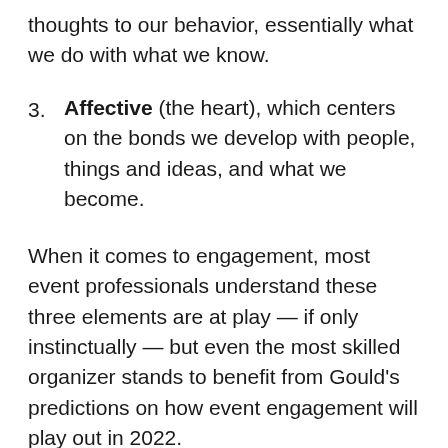thoughts to our behavior, essentially what we do with what we know.
3. Affective (the heart), which centers on the bonds we develop with people, things and ideas, and what we become.
When it comes to engagement, most event professionals understand these three elements are at play — if only instinctually — but even the most skilled organizer stands to benefit from Gould's predictions on how event engagement will play out in 2022.
Partners will expect a seat at the table